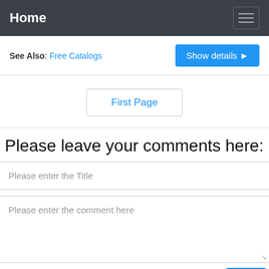Home
See Also: Free Catalogs
Show details ▶
First Page
Please leave your comments here:
Please enter the Title
Please enter the comment here